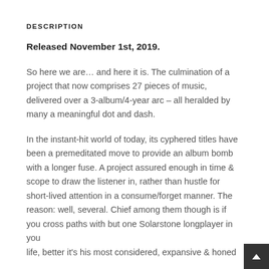DESCRIPTION
Released November 1st, 2019.
So here we are… and here it is. The culmination of a project that now comprises 27 pieces of music, delivered over a 3-album/4-year arc – all heralded by many a meaningful dot and dash.
In the instant-hit world of today, its cyphered titles have been a premeditated move to provide an album bomb with a longer fuse. A project assured enough in time & scope to draw the listener in, rather than hustle for short-lived attention in a consume/forget manner. The reason: well, several. Chief among them though is if you cross paths with but one Solarstone longplayer in your life, better it's his most considered, expansive & honed